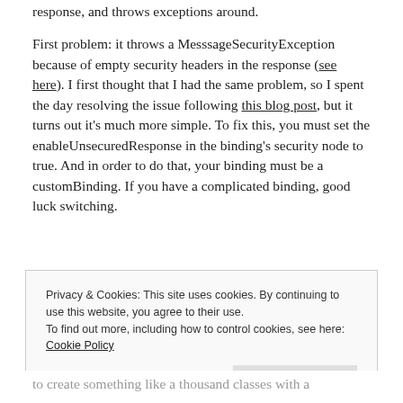response, and throws exceptions around.
First problem: it throws a MesssageSecurityException because of empty security headers in the response (see here). I first thought that I had the same problem, so I spent the day resolving the issue following this blog post, but it turns out it's much more simple. To fix this, you must set the enableUnsecuredResponse in the binding's security node to true. And in order to do that, your binding must be a customBinding. If you have a complicated binding, good luck switching.
Privacy & Cookies: This site uses cookies. By continuing to use this website, you agree to their use.
To find out more, including how to control cookies, see here: Cookie Policy
to create something like a thousand classes with a